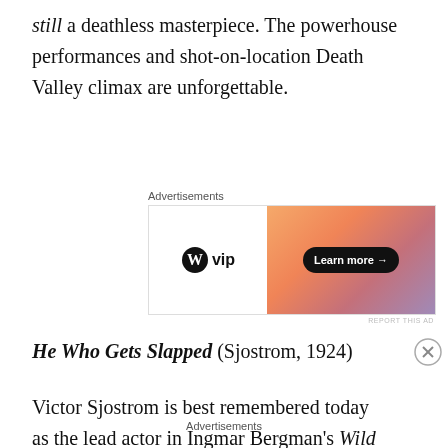still a deathless masterpiece. The powerhouse performances and shot-on-location Death Valley climax are unforgettable.
[Figure (screenshot): WordPress VIP advertisement banner with 'Learn more →' button on an orange-pink gradient background]
He Who Gets Slapped (Sjostrom, 1924)
Victor Sjostrom is best remembered today as the lead actor in Ingmar Bergman's Wild Strawberries but he also directed a couple of the best American films of the silent era – this Lon Chaney vehicle and 1928's Lillian Gish-starring The Wind. Here, Chaney plays a scientist who is
Advertisements